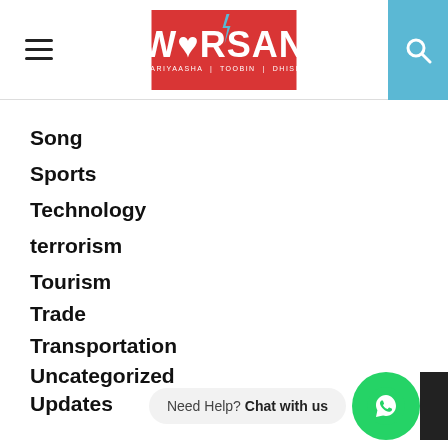[Figure (logo): WARSAN news website header with hamburger menu, red WARSAN logo, and blue search button]
Song
Sports
Technology
terrorism
Tourism
Trade
Transportation
Uncategorized
Updates
Vacancies
Vaccine
viewpoint
Weather
Women